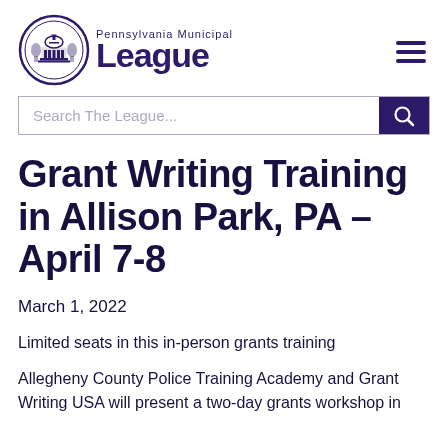Pennsylvania Municipal League
Grant Writing Training in Allison Park, PA – April 7-8
March 1, 2022
Limited seats in this in-person grants training
Allegheny County Police Training Academy and Grant Writing USA will present a two-day grants workshop in